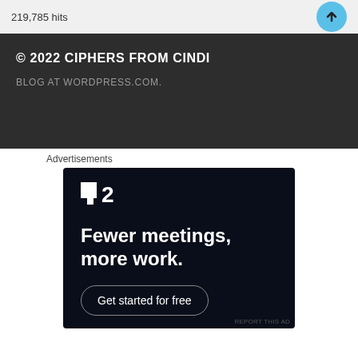219,785 hits
© 2022 CIPHERS FROM CINDI
BLOG AT WORDPRESS.COM.
Advertisements
[Figure (screenshot): Advertisement for a productivity tool with dark background showing the brand logo '■2' and text 'Fewer meetings, more work.' with a 'Get started for free' button]